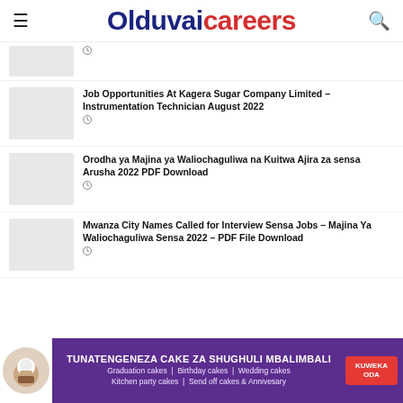Olduvaicareers
[Figure (other): Partial thumbnail image placeholder (grey box) for a partially visible article at top]
(clock icon)
[Figure (other): Thumbnail image placeholder (grey box) for Kagera Sugar Company article]
Job Opportunities At Kagera Sugar Company Limited – Instrumentation Technician August 2022
(clock icon)
[Figure (other): Thumbnail image placeholder (grey box) for Orodha ya Majina article]
Orodha ya Majina ya Waliochaguliwa na Kuitwa Ajira za sensa Arusha 2022 PDF Download
(clock icon)
[Figure (other): Thumbnail image placeholder (grey box) for Mwanza City Names article]
Mwanza City Names Called for Interview Sensa Jobs – Majina Ya Waliochaguliwa Sensa 2022 – PDF File Download
(clock icon)
[Figure (other): Advertisement banner: TUNATENGENEZA CAKE ZA SHUGHULI MBALIMBALI. Graduation cakes | Birthday cakes | Wedding cakes. Kitchen party cakes | Send off cakes & Annivesary. KUWEKA ODA button.]